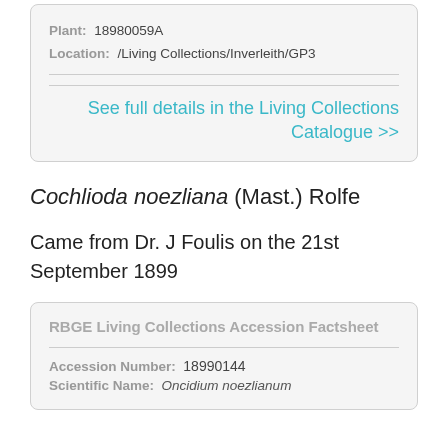Plant: 18980059A
Location: /Living Collections/Inverleith/GP3
See full details in the Living Collections Catalogue >>
Cochlioda noezliana (Mast.) Rolfe
Came from Dr. J Foulis on the 21st September 1899
RBGE Living Collections Accession Factsheet
Accession Number: 18990144
Scientific Name: Oncidium noezlianum